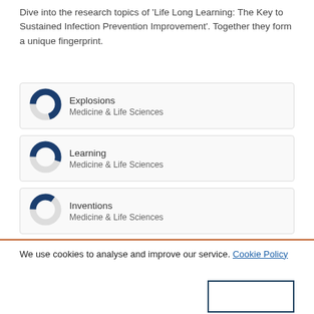Dive into the research topics of 'Life Long Learning: The Key to Sustained Infection Prevention Improvement'. Together they form a unique fingerprint.
[Figure (donut-chart): Donut chart for Explosions, approximately 70% filled, dark blue segment]
[Figure (donut-chart): Donut chart for Learning, approximately 55% filled, dark blue segment]
[Figure (donut-chart): Donut chart for Inventions, approximately 35% filled, dark blue segment]
We use cookies to analyse and improve our service. Cookie Policy